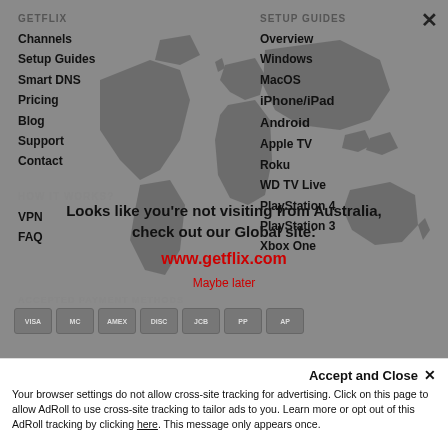[Figure (screenshot): Website navigation overlay on getflix.com showing left menu with Channels, Setup Guides, Smart DNS, Pricing, Blog, Support, Contact, HOW IT WORKS?, VPN, FAQ and right menu with SETUP GUIDES: Overview, Windows, MacOS, iPhone/iPad, Android, Apple TV, Roku, WD TV Live, PlayStation 4, PlayStation 3, Xbox One, and partially visible items. World map silhouette in background. Close X button top right.]
Looks like you're not visiting from Australia, check out our Global site:
www.getflix.com
Maybe later
ACCEPTED PAYMENT METHODS
Accept and Close ×
Your browser settings do not allow cross-site tracking for advertising. Click on this page to allow AdRoll to use cross-site tracking to tailor ads to you. Learn more or opt out of this AdRoll tracking by clicking here. This message only appears once.